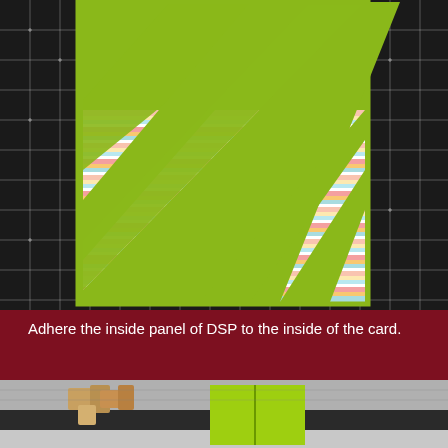[Figure (photo): Crafting project photo showing striped colorful DSP (Designer Series Paper) with lime green card panels on a black cutting mat grid. The paper has horizontal stripes in pink, orange, blue, green, and white. Diagonal lime green strips are placed across the striped paper. The paper is positioned on a black measuring grid mat.]
Adhere the inside panel of DSP to the inside of the card.
[Figure (photo): Partial photo showing crafting supplies including cardstock pieces and a lime green folded card on a gray cutting mat, with wooden die-cut embellishments visible.]